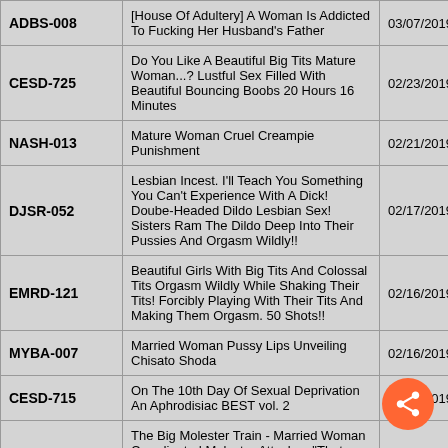| ID | Title | Date |
| --- | --- | --- |
| ADBS-008 | [House Of Adultery] A Woman Is Addicted To Fucking Her Husband's Father | 03/07/2019 |
| CESD-725 | Do You Like A Beautiful Big Tits Mature Woman...? Lustful Sex Filled With Beautiful Bouncing Boobs 20 Hours 16 Minutes | 02/23/2019 |
| NASH-013 | Mature Woman Cruel Creampie Punishment | 02/21/2019 |
| DJSR-052 | Lesbian Incest. I'll Teach You Something You Can't Experience With A Dick! Doube-Headed Dildo Lesbian Sex! Sisters Ram The Dildo Deep Into Their Pussies And Orgasm Wildly!! | 02/17/2019 |
| EMRD-121 | Beautiful Girls With Big Tits And Colossal Tits Orgasm Wildly While Shaking Their Tits! Forcibly Playing With Their Tits And Making Them Orgasm. 50 Shots!! | 02/16/2019 |
| MYBA-007 | Married Woman Pussy Lips Unveiling Chisato Shoda | 02/16/2019 |
| CESD-715 | On The 10th Day Of Sexual Deprivation An Aphrodisiac BEST vol. 2 | 02/09/2019 |
| AVOP-460 | The Big Molester Train - Married Woman Coordinated Molester Attacks - "That Day, In That Moment, If Only I Didn't Board That Train..." | 01/31/2019 |